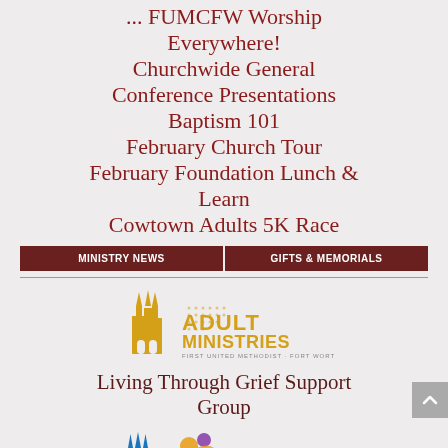... FUMCFW Worship Everywhere!
Churchwide General Conference Presentations
Baptism 101
February Church Tour
February Foundation Lunch & Learn
Cowtown Adults 5K Race
MINISTRY NEWS | GIFTS & MEMORIALS
[Figure (logo): Adult Ministries - First United Methodist Fort Worth logo with golden church tower icon]
Living Through Grief Support Group
[Figure (logo): The Church for Children - First United Methodist Fort Worth logo with blue church tower and colorful children icon]